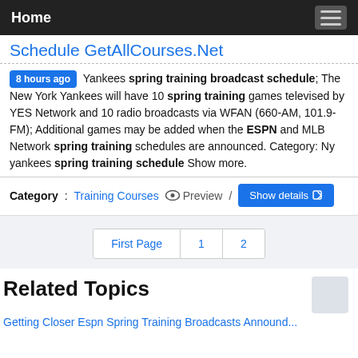Home
Schedule GetAllCourses.Net
8 hours ago Yankees spring training broadcast schedule; The New York Yankees will have 10 spring training games televised by YES Network and 10 radio broadcasts via WFAN (660-AM, 101.9-FM); Additional games may be added when the ESPN and MLB Network spring training schedules are announced. Category: Ny yankees spring training schedule Show more.
Category: Training Courses   Preview /  Show details
First Page  1  2
Related Topics
Getting Closer Espn Spring Training Broadcasts Announced